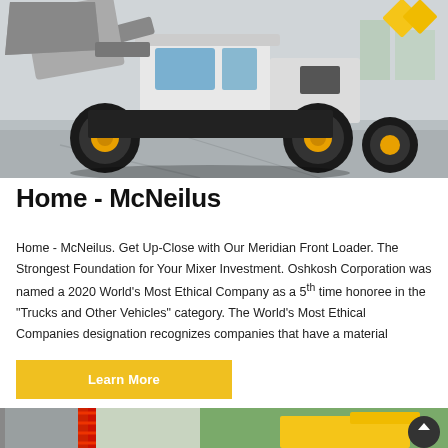[Figure (photo): Front loader / wheel loader truck photographed outdoors on pavement — white and black body with yellow rims, bucket raised at front.]
Home - McNeilus
Home - McNeilus. Get Up-Close with Our Meridian Front Loader. The Strongest Foundation for Your Mixer Investment. Oshkosh Corporation was named a 2020 World's Most Ethical Company as a 5th time honoree in the "Trucks and Other Vehicles" category. The World's Most Ethical Companies designation recognizes companies that have a material
Learn More
[Figure (photo): Partial view of construction equipment — red crane structure on the left, yellow heavy machinery on the right, with trees in the background.]